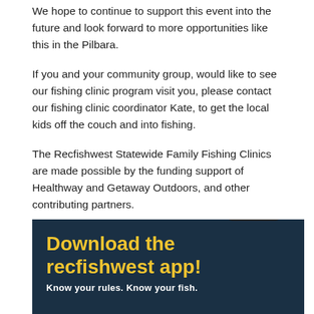We hope to continue to support this event into the future and look forward to more opportunities like this in the Pilbara.
If you and your community group, would like to see our fishing clinic program visit you, please contact our fishing clinic coordinator Kate, to get the local kids off the couch and into fishing.
The Recfishwest Statewide Family Fishing Clinics are made possible by the funding support of Healthway and Getaway Outdoors, and other contributing partners.
[Figure (infographic): Dark navy blue banner advertisement for the recfishwest app showing a smartphone with fish identification images. Text reads 'Download the recfishwest app!' in yellow and 'Know your rules. Know your fish.' in white.]